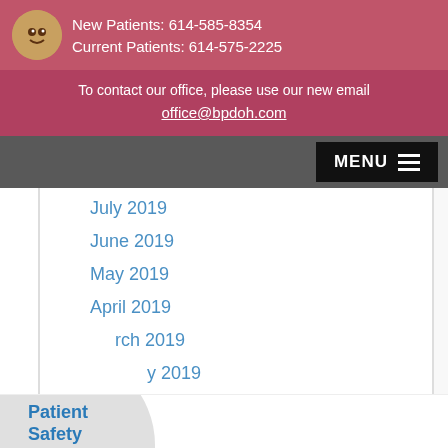New Patients: 614-585-8354
Current Patients: 614-575-2225
To contact our office, please use our new email
office@bpdoh.com
July 2019
June 2019
May 2019
April 2019
March 2019
February 2019
Patient Safety Protocol ›